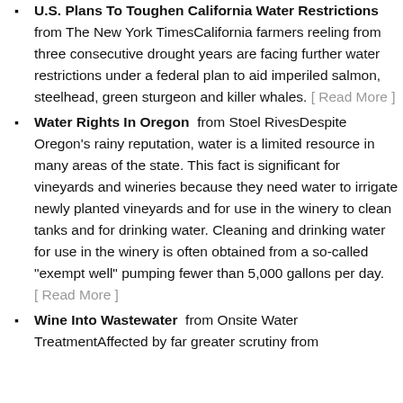U.S. Plans To Toughen California Water Restrictions  from The New York TimesCalifornia farmers reeling from three consecutive drought years are facing further water restrictions under a federal plan to aid imperiled salmon, steelhead, green sturgeon and killer whales. [ Read More ]
Water Rights In Oregon  from Stoel RivesDespite Oregon's rainy reputation, water is a limited resource in many areas of the state. This fact is significant for vineyards and wineries because they need water to irrigate newly planted vineyards and for use in the winery to clean tanks and for drinking water. Cleaning and drinking water for use in the winery is often obtained from a so-called "exempt well" pumping fewer than 5,000 gallons per day. [ Read More ]
Wine Into Wastewater  from Onsite Water TreatmentAffected by far greater scrutiny from